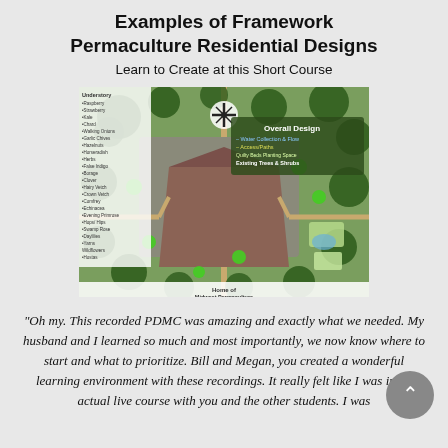Examples of Framework Permaculture Residential Designs
Learn to Create at this Short Course
[Figure (map): Aerial/overhead permaculture residential design map showing a property with trees (dark green circles), paths (brown lines), a house structure, water collection zones, garden beds, and a legend panel on the left listing understory plants. Top right overlay reads 'Overall Design' with legend items: Water Collection & Flow, Access/Paths, Quilty Beds Planting Space, Existing Trees & Shrubs. Bottom shows Midland Permaculture branding.]
"Oh my. This recorded PDMC was amazing and exactly what we needed. My husband and I learned so much and most importantly, we now know where to start and what to prioritize. Bill and Megan, you created a wonderful learning environment with these recordings. It really felt like I was in an actual live course with you and the other students. I was